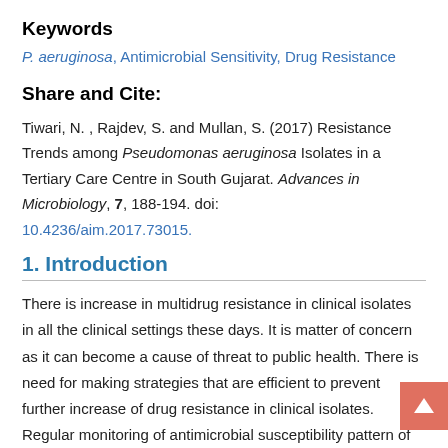Keywords
P. aeruginosa, Antimicrobial Sensitivity, Drug Resistance
Share and Cite:
Tiwari, N. , Rajdev, S. and Mullan, S. (2017) Resistance Trends among Pseudomonas aeruginosa Isolates in a Tertiary Care Centre in South Gujarat. Advances in Microbiology, 7, 188-194. doi: 10.4236/aim.2017.73015.
1. Introduction
There is increase in multidrug resistance in clinical isolates in all the clinical settings these days. It is matter of concern as it can become a cause of threat to public health. There is need for making strategies that are efficient to prevent further increase of drug resistance in clinical isolates. Regular monitoring of antimicrobial susceptibility pattern of clinical isolates can greatly